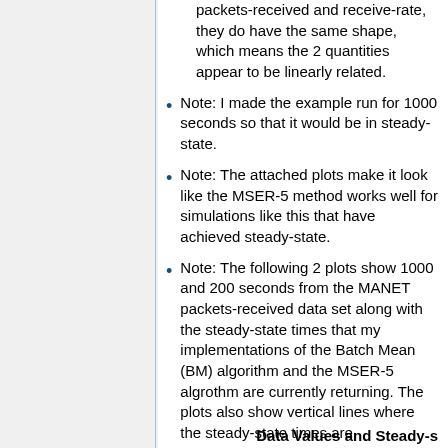packets-received and receive-rate, they do have the same shape, which means the 2 quantities appear to be linearly related.
Note: I made the example run for 1000 seconds so that it would be in steady-state.
Note: The attached plots make it look like the MSER-5 method works well for simulations like this that have achieved steady-state.
Note: The following 2 plots show 1000 and 200 seconds from the MANET packets-received data set along with the steady-state times that my implementations of the Batch Mean (BM) algorithm and the MSER-5 algrothm are currently returning. The plots also show vertical lines where the steady-state times are.
Data Values and Steady-s